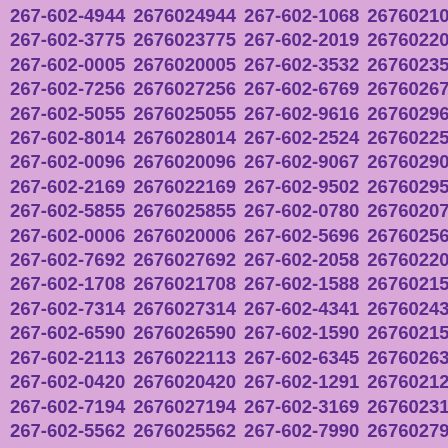| 267-602-4944 | 2676024944 | 267-602-1068 | 2676021068 |
| 267-602-3775 | 2676023775 | 267-602-2019 | 2676022019 |
| 267-602-0005 | 2676020005 | 267-602-3532 | 2676023532 |
| 267-602-7256 | 2676027256 | 267-602-6769 | 2676026769 |
| 267-602-5055 | 2676025055 | 267-602-9616 | 2676029616 |
| 267-602-8014 | 2676028014 | 267-602-2524 | 2676022524 |
| 267-602-0096 | 2676020096 | 267-602-9067 | 2676029067 |
| 267-602-2169 | 2676022169 | 267-602-9502 | 2676029502 |
| 267-602-5855 | 2676025855 | 267-602-0780 | 2676020780 |
| 267-602-0006 | 2676020006 | 267-602-5696 | 2676025696 |
| 267-602-7692 | 2676027692 | 267-602-2058 | 2676022058 |
| 267-602-1708 | 2676021708 | 267-602-1588 | 2676021588 |
| 267-602-7314 | 2676027314 | 267-602-4341 | 2676024341 |
| 267-602-6590 | 2676026590 | 267-602-1590 | 2676021590 |
| 267-602-2113 | 2676022113 | 267-602-6345 | 2676026345 |
| 267-602-0420 | 2676020420 | 267-602-1291 | 2676021291 |
| 267-602-7194 | 2676027194 | 267-602-3169 | 2676023169 |
| 267-602-5562 | 2676025562 | 267-602-7990 | 2676027990 |
| 267-602-0136 | 2676020136 | 267-602-3092 | 2676023092 |
| 267-602-3298 | 2676023298 | 267-602-9857 | 2676029857 |
| 267-602-5058 | 2676025058 | 267-602-4494 | 2676024494 |